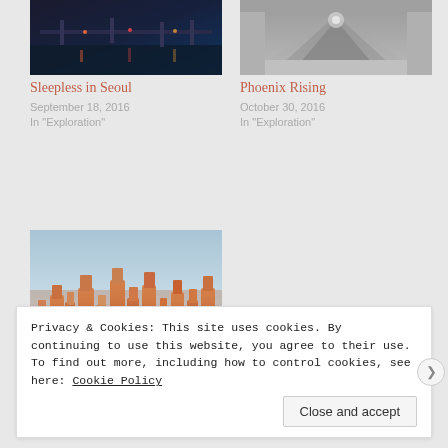[Figure (photo): Night cityscape photo - Sleepless in Seoul thumbnail]
Sleepless in Seoul
September 18, 2016
In "Exploration"
[Figure (photo): Black and white urban/tunnel photo - Phoenix Rising thumbnail]
Phoenix Rising
October 30, 2016
In "Exploration"
[Figure (photo): Bryce Canyon hoodoos red rock formation - Seeing Hoodoos]
Seeing Hoodoos
March 19, 2012
In "Exploration"
Privacy & Cookies: This site uses cookies. By continuing to use this website, you agree to their use.
To find out more, including how to control cookies, see here: Cookie Policy
Close and accept